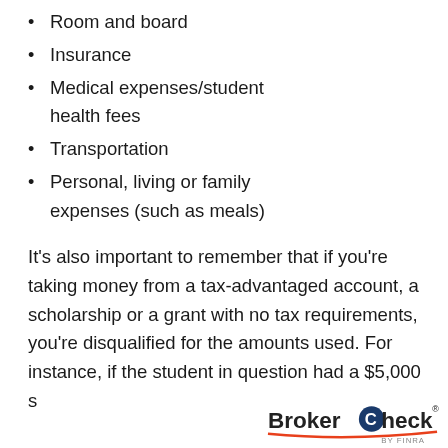Room and board
Insurance
Medical expenses/student health fees
Transportation
Personal, living or family expenses (such as meals)
It's also important to remember that if you're taking money from a tax-advantaged account, a scholarship or a grant with no tax requirements, you're disqualified for the amounts used. For instance, if the student in question had a $5,000 s…